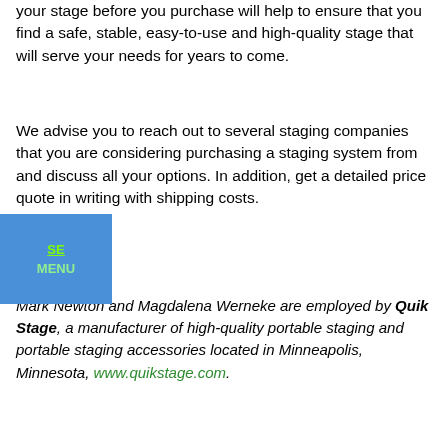your stage before you purchase will help to ensure that you find a safe, stable, easy-to-use and high-quality stage that will serve your needs for years to come.
We advise you to reach out to several staging companies that you are considering purchasing a staging system from and discuss all your options. In addition, get a detailed price quote in writing with shipping costs.
Mark Newton and Magdalena Werneke are employed by Quik Stage, a manufacturer of high-quality portable staging and portable staging accessories located in Minneapolis, Minnesota, www.quikstage.com.